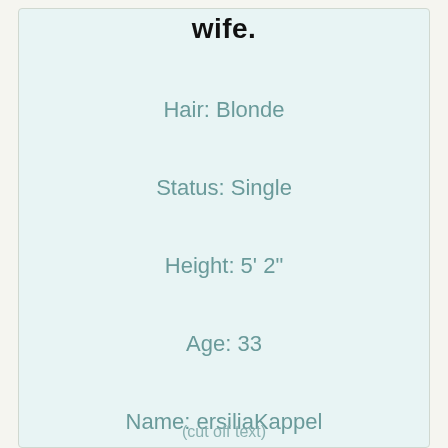wife.
Hair: Blonde
Status: Single
Height: 5' 2"
Age: 33
Name: ersiliaKappel
(cut off at bottom)